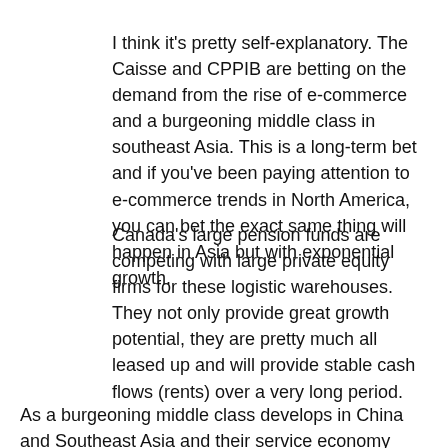I think it's pretty self-explanatory. The Caisse and CPPIB are betting on the demand from the rise of e-commerce and a burgeoning middle class in southeast Asia. This is a long-term bet and if you've been paying attention to e-commerce trends in North America, you can bet the exact same thing will happen in Asia but with exponential growth.
Canada's large pension funds are competing with large private equity firms for these logistic warehouses. They not only provide great growth potential, they are pretty much all leased up and will provide stable cash flows (rents) over a very long period.
As a burgeoning middle class develops in China and Southeast Asia and their service economy picks up, it will present long-term growth opportunities in many areas, especially e-commerce.
Let me remind you in public markets, CPPIB made a huge